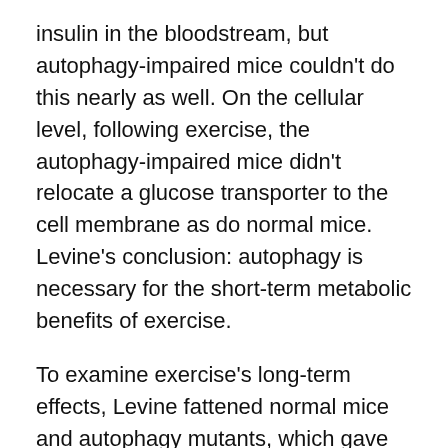insulin in the bloodstream, but autophagy-impaired mice couldn't do this nearly as well. On the cellular level, following exercise, the autophagy-impaired mice didn't relocate a glucose transporter to the cell membrane as do normal mice. Levine's conclusion: autophagy is necessary for the short-term metabolic benefits of exercise.
To examine exercise's long-term effects, Levine fattened normal mice and autophagy mutants, which gave both groups a form of diabetes, then put them through two months of daily treadmill workouts. Only the normal mic were able to reverse their diabetes through physical training. Such exercise also brought down elevated cholesterol and triglycerides in these mice, but not in the autophagy-impaired mice. Autophagy may also be required to produce the lasting beneficial effects of exercise in diabetes and obesity.